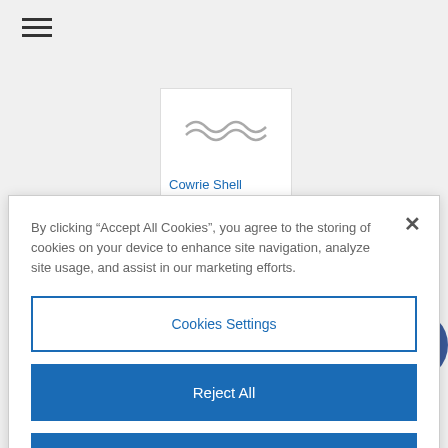[Figure (screenshot): Hamburger menu icon (three horizontal lines) in top left of web page]
[Figure (screenshot): Product card showing 'Cowrie Shell Afro Puff...' priced at $30.00 with a partial product image at top and gold button bar at bottom]
[Figure (logo): Facebook circular button icon in dark blue with white 'f' letter]
By clicking “Accept All Cookies”, you agree to the storing of cookies on your device to enhance site navigation, analyze site usage, and assist in our marketing efforts.
Cookies Settings
Reject All
Accept All Cookies